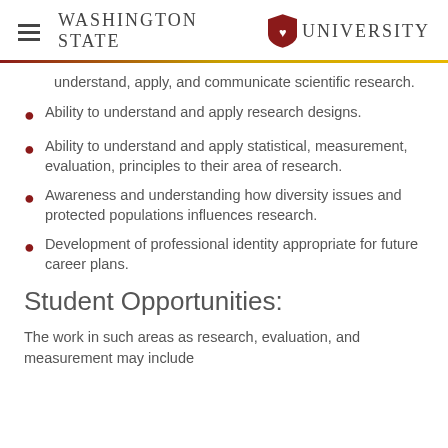Washington State University
understand, apply, and communicate scientific research.
Ability to understand and apply research designs.
Ability to understand and apply statistical, measurement, evaluation, principles to their area of research.
Awareness and understanding how diversity issues and protected populations influences research.
Development of professional identity appropriate for future career plans.
Student Opportunities:
The work in such areas as research, evaluation, and measurement may include